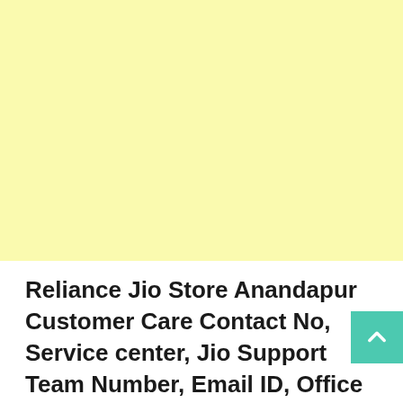[Figure (other): Light yellow advertisement or banner block occupying the top portion of the page]
Reliance Jio Store Anandapur Customer Care Contact No, Service center, Jio Support Team Number, Email ID, Office Address | Help Me Center